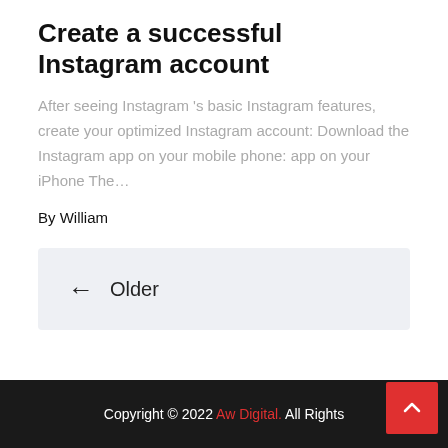Create a successful Instagram account
After seeing Instagram 's basic Instagram features, create your optimized Instagram account: Download the Instagram app on your mobile phone: app on your iPhone The…
By William
← Older
Copyright © 2022 Aw Digital. All Rights